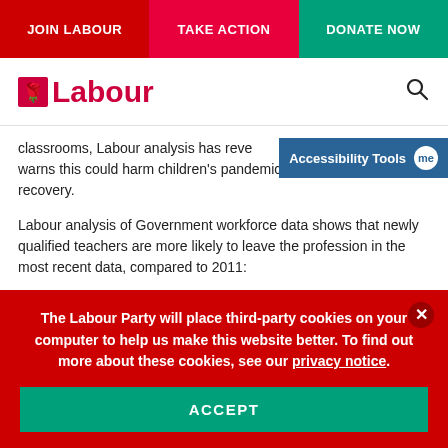JOIN LABOUR | TAKE ACTION | DONATE NOW
[Figure (logo): Labour Party rose logo with 'Labour' text in red]
classrooms, Labour analysis has revealed, and warns this could harm children's pandemic recovery.
Labour analysis of Government workforce data shows that newly qualified teachers are more likely to leave the profession in the most recent data, compared to 2011:
The Labour Party will place third-party cookies on your computer to help us make this website better. To find out more about these cookies, see our privacy notice.
ACCEPT